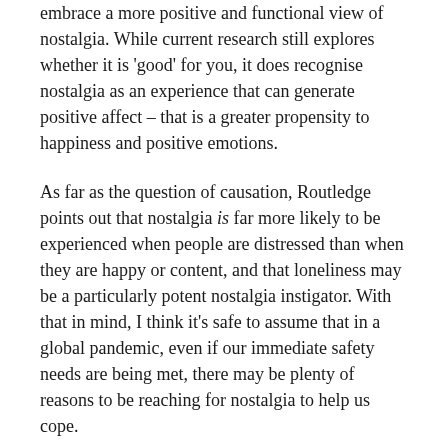embrace a more positive and functional view of nostalgia. While current research still explores whether it is 'good' for you, it does recognise nostalgia as an experience that can generate positive affect – that is a greater propensity to happiness and positive emotions.
As far as the question of causation, Routledge points out that nostalgia is far more likely to be experienced when people are distressed than when they are happy or content, and that loneliness may be a particularly potent nostalgia instigator. With that in mind, I think it's safe to assume that in a global pandemic, even if our immediate safety needs are being met, there may be plenty of reasons to be reaching for nostalgia to help us cope.
For me, it seems like the reading, cooking and listening I've been doing could easily fit into this idea of a coping mechanism. So, I've decided to outline some of the nostalgic